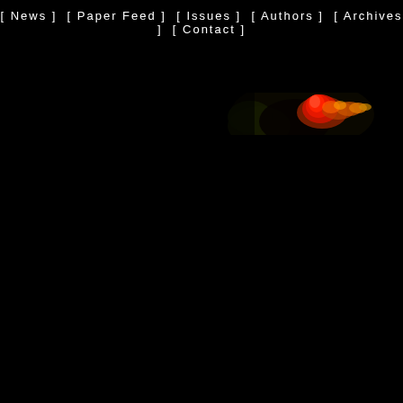[ News ] [ Paper Feed ] [ Issues ] [ Authors ] [ Archives ] [ Contact ]
[Figure (photo): Dark background with a glowing red and orange flame-like shape with some yellow and dark green tones, appearing like a small bright abstract image in the upper right area of a black page]